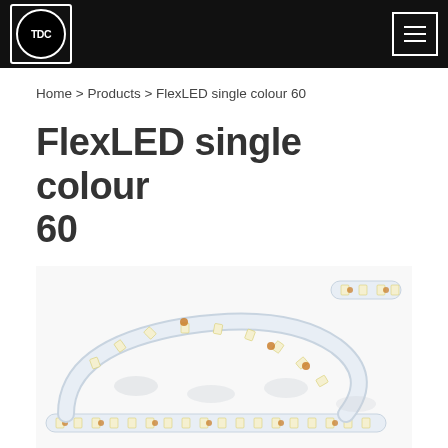TDC logo and navigation header
Home > Products > FlexLED single colour 60
FlexLED single colour 60
[Figure (photo): LED strip light (FlexLED single colour 60) coiled on white background, showing evenly spaced LEDs on flexible white PCB strip]